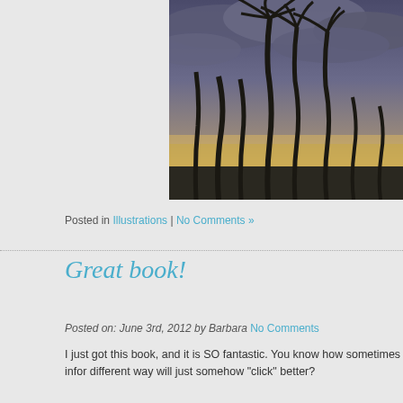[Figure (photo): Silhouette of tall palm trees against a dramatic cloudy sky with warm golden sunset light near the horizon]
Posted in Illustrations | No Comments »
Great book!
Posted on: June 3rd, 2012 by Barbara No Comments
I just got this book, and it is SO fantastic. You know how sometimes infor different way will just somehow "click" better?